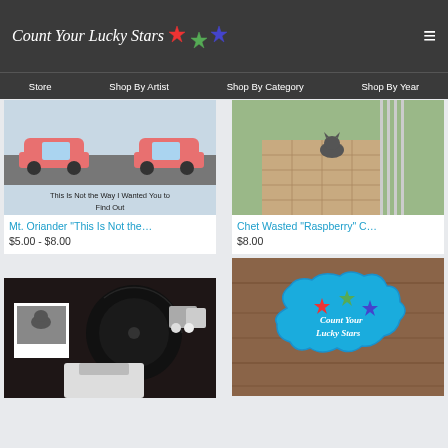Count Your Lucky Stars
Store | Shop By Artist | Shop By Category | Shop By Year
[Figure (photo): Comic illustration: cartoon cars on road, text 'This Is Not the Way I Wanted You to Find Out']
Mt. Oriander "This Is Not the…
$5.00 - $8.00
[Figure (photo): Outdoor photo of a cat on a brick pathway near a fence]
Chet Wasted "Raspberry" C…
$8.00
[Figure (photo): Album package with vinyl record, polaroid photo of cat, small pins, and white t-shirt]
[Figure (photo): Count Your Lucky Stars enamel pin on wooden surface — blue shape with red, green, blue stars]